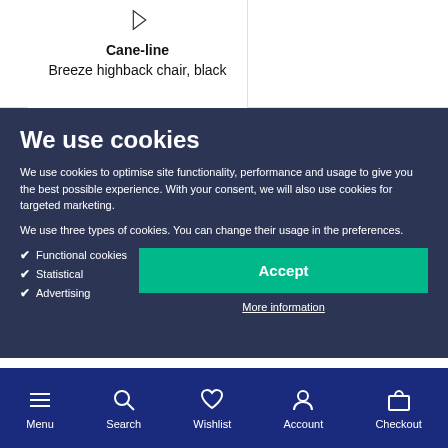Cane-line
Breeze highback chair, black
We use cookies
We use cookies to optimise site functionality, performance and usage to give you the best possible experience. With your consent, we will also use cookies for targeted marketing.
We use three types of cookies. You can change their usage in the preferences.
Functional cookies
Statistical
Advertising
Accept
More information
Menu  Search  Wishlist  Account  Checkout